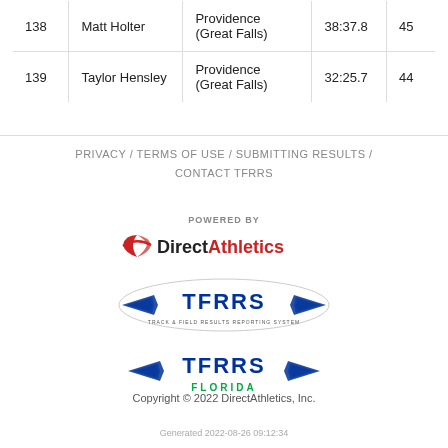|  | Name | Team | Time | Pts |
| --- | --- | --- | --- | --- |
| 138 | Matt Holter | Providence (Great Falls) | 38:37.8 | 45 |
| 139 | Taylor Hensley | Providence (Great Falls) | 32:25.7 | 44 |
PRIVACY / TERMS OF USE / SUBMITTING RESULTS / CONTACT TFRRS
[Figure (logo): DirectAthletics logo with red swoosh and text 'Powered By Direct Athletics']
[Figure (logo): TFRRS - Track & Field Results Reporting System logo with blue wings]
[Figure (logo): TFRRS Florida logo with blue wings and green Florida text]
Copyright © 2022 DirectAthletics, Inc.
Generated 2022-08-26 09:12:34